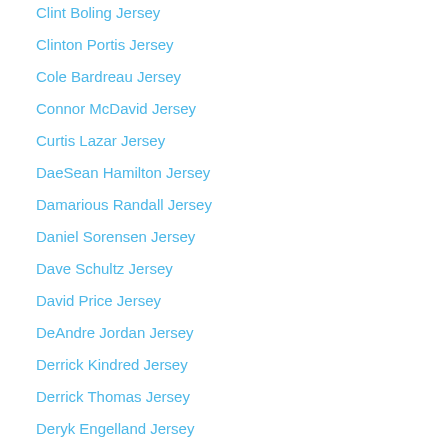Clint Boling Jersey
Clinton Portis Jersey
Cole Bardreau Jersey
Connor McDavid Jersey
Curtis Lazar Jersey
DaeSean Hamilton Jersey
Damarious Randall Jersey
Daniel Sorensen Jersey
Dave Schultz Jersey
David Price Jersey
DeAndre Jordan Jersey
Derrick Kindred Jersey
Derrick Thomas Jersey
Deryk Engelland Jersey